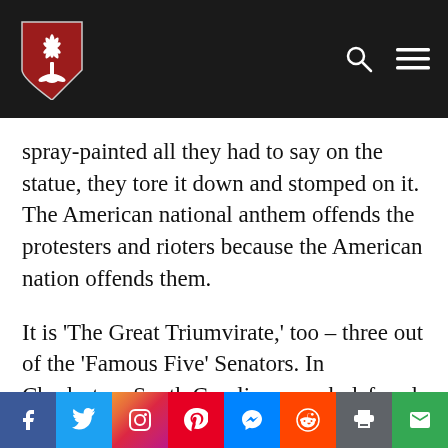Website header with logo and navigation icons
spray-painted all they had to say on the statue, they tore it down and stomped on it. The American national anthem offends the protesters and rioters because the American nation offends them.
It is ‘The Great Triumvirate,’ too – three out of the ‘Famous Five’ Senators. In Charleston, South Carolina, a mob defaced a monument to John C.
Social sharing bar: Facebook, Twitter, Instagram, Pinterest, Messenger, Reddit, Print, Email